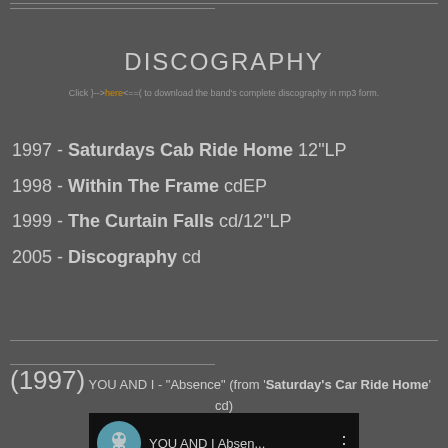DISCOGRAPHY
Click }-->here<==( to download the band's complete discography in mp3 form.
1997 - Saturdays Cab Ride Home 12"LP
1998 - Within The Frame cdEP
1999 - The Curtain Falls cd/12"LP
2005 - Discography cd
(1997) YOU AND I - "Absence" (from 'Saturday's Car Ride Home' cd)
[Figure (screenshot): Video thumbnail showing a circle avatar with skull/robot image, text 'YOU AND I Absen...' and three dots menu button on dark background]